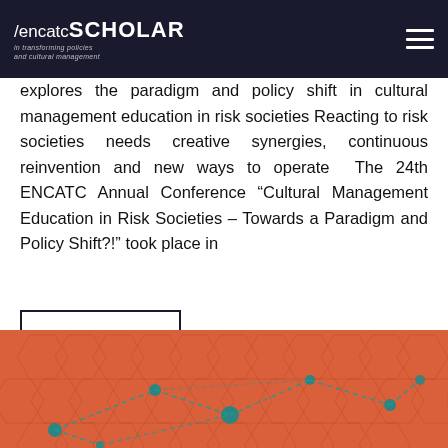/encatcSCHOLAR in transforming policies and cultural management
explores the paradigm and policy shift in cultural management education in risk societies Reacting to risk societies needs creative synergies, continuous reinvention and new ways to operate  The 24th ENCATC Annual Conference “Cultural Management Education in Risk Societies – Towards a Paradigm and Policy Shift?!” took place in
READ MORE
[Figure (photo): Orange-tinted photo of honeybees on honeycomb with teal network graph overlay showing connected nodes with dashed lines]